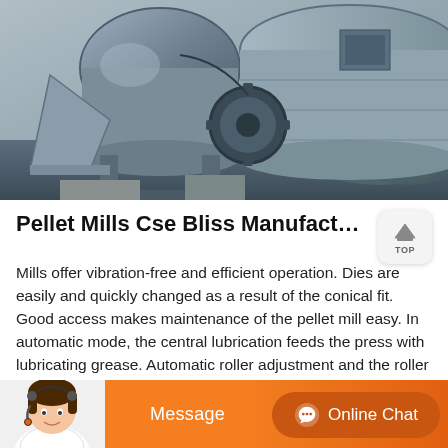[Figure (photo): Industrial pellet mill / ball mill machinery photographed outdoors at a manufacturing or construction site. Large cylindrical drum with metal framework, gears, and conveyor components visible.]
Pellet Mills Cse Bliss Manufacturing Pelleting Mil
Mills offer vibration-free and efficient operation. Dies are easily and quickly changed as a result of the conical fit. Good access makes maintenance of the pellet mill easy. In automatic mode, the central lubrication feeds the press with lubricating grease. Automatic roller adjustment and the roller slip control ensure performance and flexibility.
[Figure (photo): Customer service representative avatar photo (woman with headset) in bottom-left corner of chat bar.]
Message    Online Chat